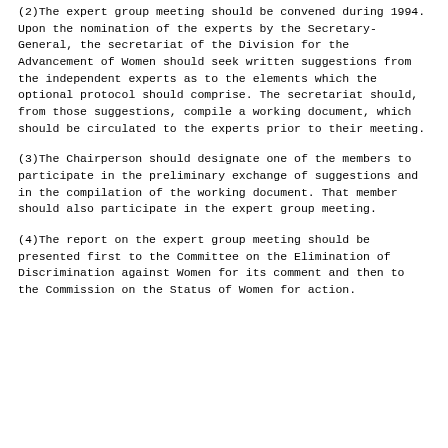(2)The expert group meeting should be convened during 1994. Upon the nomination of the experts by the Secretary-General, the secretariat of the Division for the Advancement of Women should seek written suggestions from the independent experts as to the elements which the optional protocol should comprise. The secretariat should, from those suggestions, compile a working document, which should be circulated to the experts prior to their meeting.
(3)The Chairperson should designate one of the members to participate in the preliminary exchange of suggestions and in the compilation of the working document. That member should also participate in the expert group meeting.
(4)The report on the expert group meeting should be presented first to the Committee on the Elimination of Discrimination against Women for its comment and then to the Commission on the Status of Women for action.